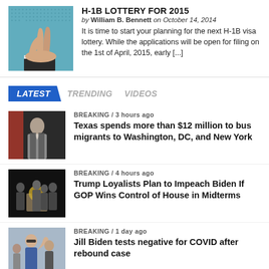[Figure (photo): Close-up photo of hands crossing fingers against blue dotted background]
H-1B LOTTERY FOR 2015
by William B. Bennett on October 14, 2014
It is time to start your planning for the next H-1B visa lottery. While the applications will be open for filing on the 1st of April, 2015, early [...]
LATEST   TRENDING   VIDEOS
[Figure (photo): Man in suit at podium with American flag, news photo]
BREAKING / 3 hours ago
Texas spends more than $12 million to bus migrants to Washington, DC, and New York
[Figure (photo): Group of people at podium with seal, news press conference]
BREAKING / 4 hours ago
Trump Loyalists Plan to Impeach Biden If GOP Wins Control of House in Midterms
[Figure (photo): Person waving outdoors, news photo]
BREAKING / 1 day ago
Jill Biden tests negative for COVID after rebound case